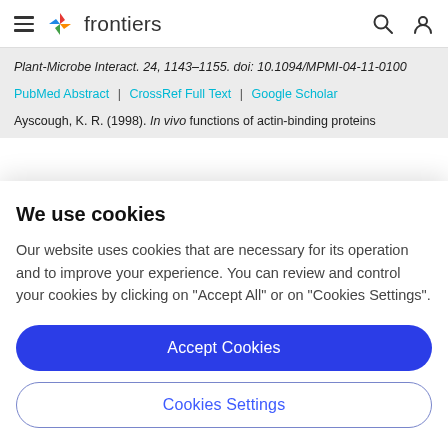frontiers
Plant-Microbe Interact. 24, 1143–1155. doi: 10.1094/MPMI-04-11-0100
PubMed Abstract | CrossRef Full Text | Google Scholar
Ayscough, K. R. (1998). In vivo functions of actin-binding proteins
We use cookies
Our website uses cookies that are necessary for its operation and to improve your experience. You can review and control your cookies by clicking on "Accept All" or on "Cookies Settings".
Accept Cookies
Cookies Settings